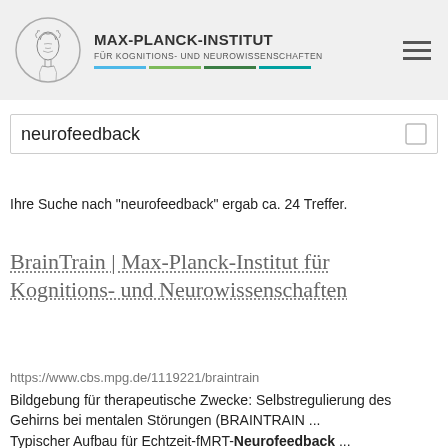MAX-PLANCK-INSTITUT FÜR KOGNITIONS- UND NEUROWISSENSCHAFTEN
neurofeedback
Ihre Suche nach "neurofeedback" ergab ca. 24 Treffer.
BrainTrain | Max-Planck-Institut für Kognitions- und Neurowissenschaften
https://www.cbs.mpg.de/1119221/braintrain
Bildgebung für therapeutische Zwecke: Selbstregulierung des Gehirns bei mentalen Störungen (BRAINTRAIN ... Typischer Aufbau für Echtzeit-fMRT-Neurofeedback ...